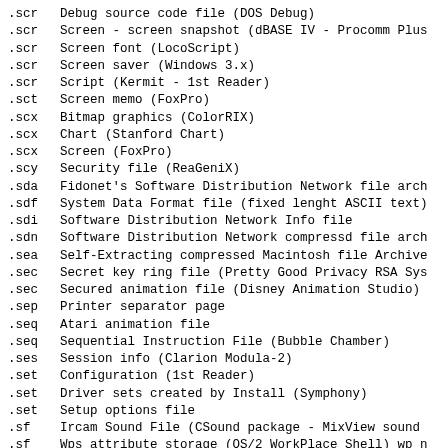.scr    Debug source code file (DOS Debug)
.scr    Screen - screen snapshot (dBASE IV - Procomm Plus
.scr    Screen font (LocoScript)
.scr    Screen saver (Windows 3.x)
.scr    Script (Kermit - 1st Reader)
.sct    Screen memo (FoxPro)
.scx    Bitmap graphics (ColorRIX)
.scx    Chart (Stanford Chart)
.scx    Screen (FoxPro)
.scy    Security file (ReaGeniX)
.sda    Fidonet's Software Distribution Network file arch
.sdf    System Data Format file (fixed lenght ASCII text)
.sdi    Software Distribution Network Info file
.sdn    Software Distribution Network compressd file arch
.sea    Self-Extracting compressed Macintosh file Archive
.sec    Secret key ring file (Pretty Good Privacy RSA Sys
.sec    Secured animation file (Disney Animation Studio)
.sep    Printer separator page
.seq    Atari animation file
.seq    Sequential Instruction File (Bubble Chamber)
.ses    Session info (Clarion Modula-2)
.set    Configuration (1st Reader)
.set    Driver sets created by Install (Symphony)
.set    Setup options file
.sf     Ircam Sound File (CSound package - MixView sound
.sf     Wps attribute storage (OS/2 WorkPlace Shell) wp_n
.sfi    Graphics (SIS Framegrabber)